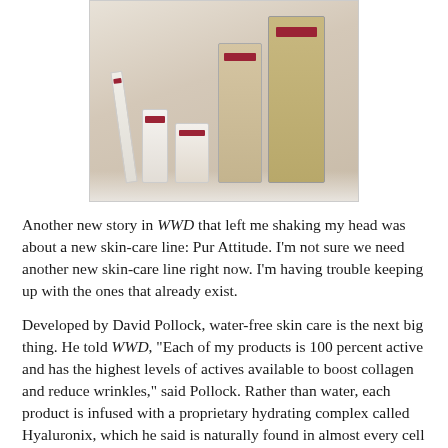[Figure (photo): Photo of Pur Attitude skin-care product line showing multiple bottles and containers arranged together against a light background]
Another new story in WWD that left me shaking my head was about a new skin-care line: Pur Attitude. I'm not sure we need another new skin-care line right now. I'm having trouble keeping up with the ones that already exist.
Developed by David Pollock, water-free skin care is the next big thing. He told WWD, "Each of my products is 100 percent active and has the highest levels of actives available to boost collagen and reduce wrinkles," said Pollock. Rather than water, each product is infused with a proprietary hydrating complex called Hyaluronix, which he said is naturally found in almost every cell of the human body. He has to be talking about hyaluronic acid, which is already a staple of state-of-the-art skin care. It's not new. "We know that skin can absorb up to 60 percent of what is put on it and water just dilutes the actives," said Pollock. "Hyaluronix